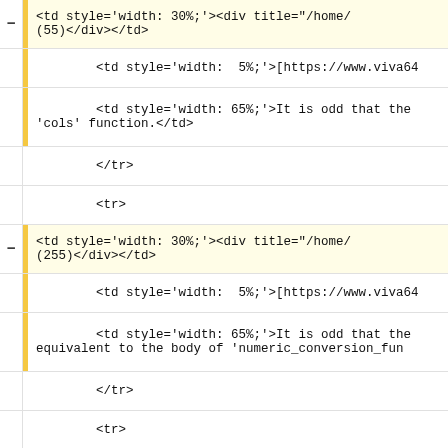<td style='width: 30%;'><div title="/home/ (55)</div></td>
<td style='width: 5%;'>[https://www.viva64
<td style='width: 65%;'>It is odd that the 'cols' function.</td>
</tr>
<tr>
<td style='width: 30%;'><div title="/home/ (255)</div></td>
<td style='width: 5%;'>[https://www.viva64
<td style='width: 65%;'>It is odd that the equivalent to the body of 'numeric_conversion_fun
</tr>
<tr>
<td style='width: 30%;'><div title="/home/